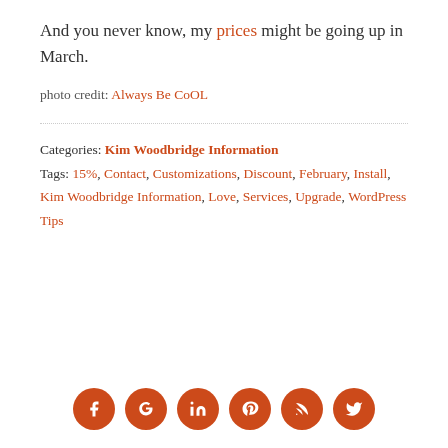And you never know, my prices might be going up in March.
photo credit: Always Be CoOL
Categories: Kim Woodbridge Information
Tags: 15%, Contact, Customizations, Discount, February, Install, Kim Woodbridge Information, Love, Services, Upgrade, WordPress Tips
[Figure (infographic): Row of 6 circular orange social media icons: Facebook, Google+, LinkedIn, Pinterest, RSS, Twitter]